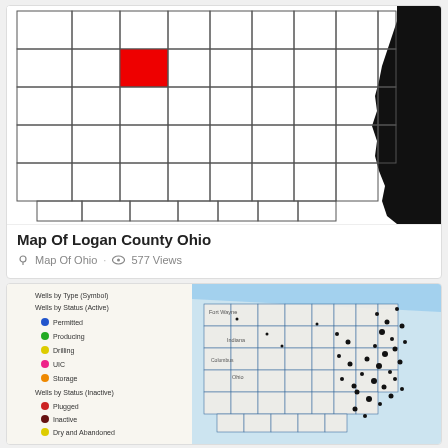[Figure (map): Map of Ohio counties with Logan County highlighted in red, located in north-central Ohio. Black area on right represents eastern border/river.]
Map Of Logan County Ohio
Map Of Ohio · 577 Views
[Figure (screenshot): Screenshot of an interactive GIS map showing wells in Ohio by type and status. Legend on left shows: Wells by Type (Symbol), Wells by Status (Active) with Permitted (blue dot), Producing (green dot), Drilling (yellow dot), UIC (pink dot), Storage (orange dot), and Wells by Status (Inactive) with Plugged (red dot), Inactive (dark red dot), Dry and Abandoned (yellow dot), Unknown/Other (white circle). Right side shows Ohio county map with well locations marked as black dots, concentrated in eastern Ohio.]